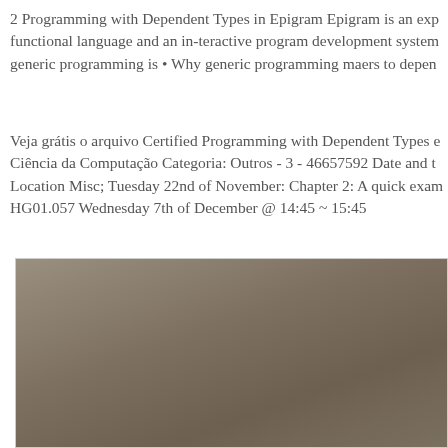2 Programming with Dependent Types in Epigram Epigram is an exp functional language and an in-teractive program development system generic programming is • Why generic programming maers to depen
Veja grátis o arquivo Certified Programming with Dependent Types e Ciência da Computação Categoria: Outros - 3 - 46657592 Date and t Location Misc; Tuesday 22nd of November: Chapter 2: A quick exam HG01.057 Wednesday 7th of December @ 14:45 ~ 15:45
[Figure (photo): A photograph showing a textured surface with muted brownish-grey tones, appearing to be a partial crop of a document cover or physical material.]